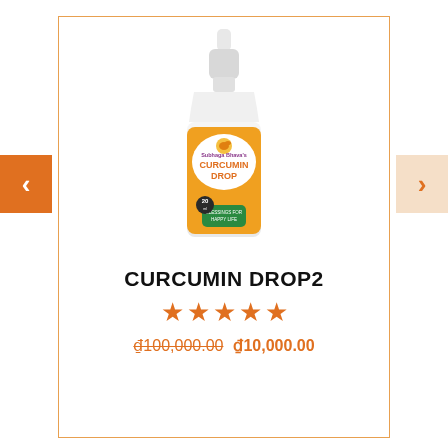[Figure (photo): A white dropper bottle with an orange label reading 'Curcumin Drop' with a swan logo, green badge at bottom reading 'Blessings for Happy Life']
CURCUMIN DROP2
★★★★★ (5 stars rating)
₫100,000.00 ₫10,000.00 (original price struck through, sale price)